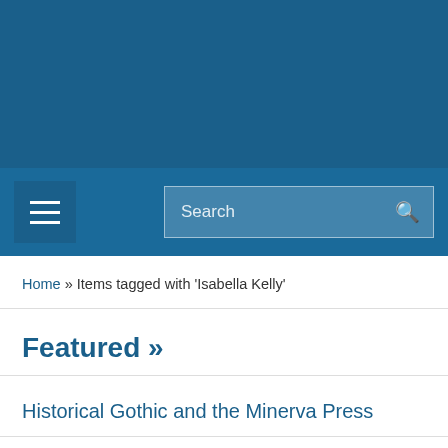[Figure (screenshot): Dark blue header background area at the top of the webpage]
Navigation bar with hamburger menu and search box
Home » Items tagged with 'Isabella Kelly'
Featured »
Historical Gothic and the Minerva Press